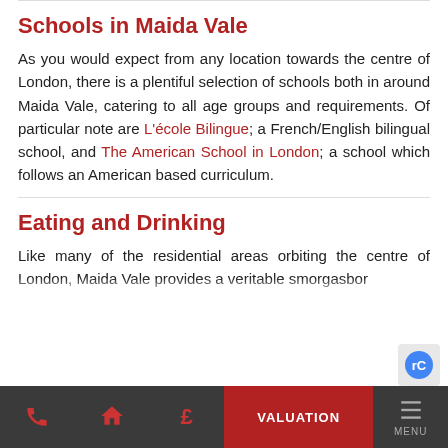Schools in Maida Vale
As you would expect from any location towards the centre of London, there is a plentiful selection of schools both in around Maida Vale, catering to all age groups and requirements. Of particular note are L'école Bilingue; a French/English bilingual school, and The American School in London; a school which follows an American based curriculum.
Eating and Drinking
Like many of the residential areas orbiting the centre of London, Maida Vale provides a veritable smorgasbor…
Phone | Home | £ | VALUATION | MENU